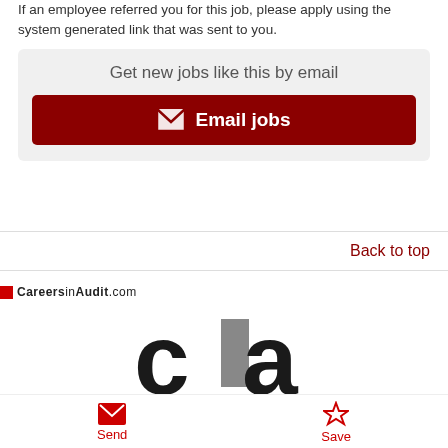If an employee referred you for this job, please apply using the system generated link that was sent to you.
Get new jobs like this by email
✉ Email jobs
Back to top
[Figure (logo): CareersInAudit.com logo with red square, 'cia' letters in large black text with grey 'i']
Send
Save